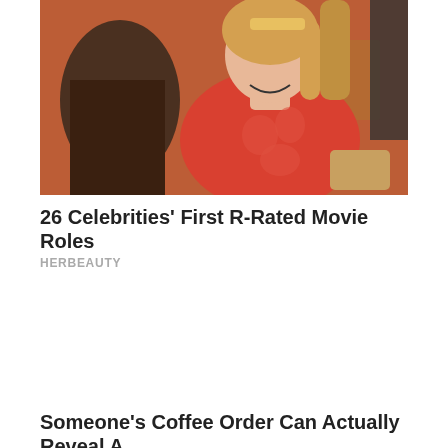[Figure (photo): Photo of a young woman in a red floral top sitting in what appears to be a cafe or restaurant, with another person partially visible in the foreground.]
26 Celebrities' First R-Rated Movie Roles
HERBEAUTY
Someone's Coffee Order Can Actually Reveal A